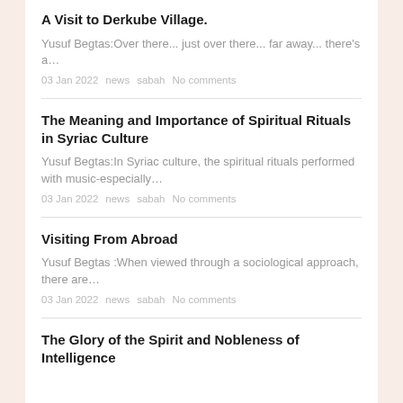A Visit to Derkube Village.
Yusuf Begtas:Over there... just over there... far away... there's a…
03 Jan 2022   news   sabah   No comments
The Meaning and Importance of Spiritual Rituals in Syriac Culture
Yusuf Begtas:In Syriac culture, the spiritual rituals performed with music-especially…
03 Jan 2022   news   sabah   No comments
Visiting From Abroad
Yusuf Begtas :When viewed through a sociological approach, there are…
03 Jan 2022   news   sabah   No comments
The Glory of the Spirit and Nobleness of Intelligence